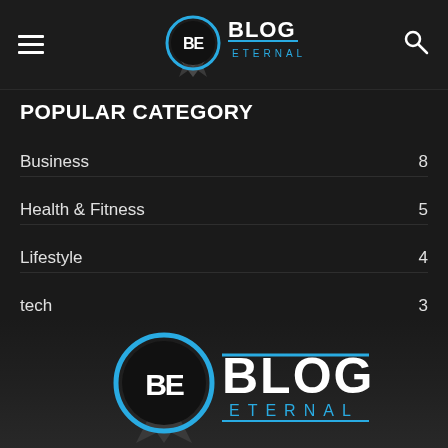Blog Eternal - navigation header with hamburger menu, logo, and search icon
POPULAR CATEGORY
Business 8
Health & Fitness 5
Lifestyle 4
tech 3
Fashion 2
[Figure (logo): Blog Eternal logo - large version in footer area with BE badge and BLOG ETERNAL text in cyan/teal]